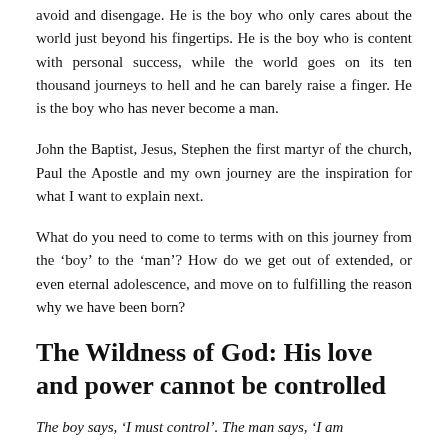avoid and disengage. He is the boy who only cares about the world just beyond his fingertips. He is the boy who is content with personal success, while the world goes on its ten thousand journeys to hell and he can barely raise a finger. He is the boy who has never become a man.
John the Baptist, Jesus, Stephen the first martyr of the church, Paul the Apostle and my own journey are the inspiration for what I want to explain next.
What do you need to come to terms with on this journey from the 'boy' to the 'man'? How do we get out of extended, or even eternal adolescence, and move on to fulfilling the reason why we have been born?
The Wildness of God: His love and power cannot be controlled
The boy says, 'I must control'. The man says, 'I am